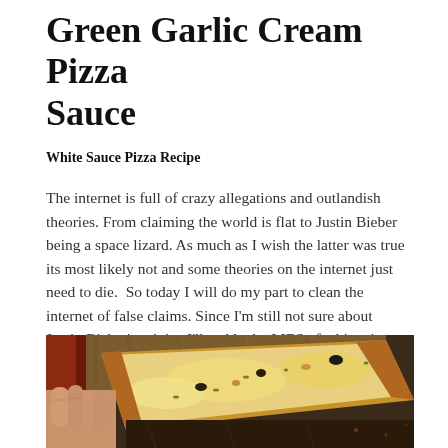Green Garlic Cream Pizza Sauce
White Sauce Pizza Recipe
The internet is full of crazy allegations and outlandish theories. From claiming the world is flat to Justin Bieber being a space lizard. As much as I wish the latter was true its most likely not and some theories on the internet just need to die.  So today I will do my part to clean the internet of false claims. Since I'm still not sure about Justin Bieber's origins I'll tackle the LIES of white pizza sauce.
[Figure (photo): A hand holding a rectangular pizza on a wooden board, showing a white sauce pizza topped with melted cheese, herbs, and garlic, with a dark wooden background.]